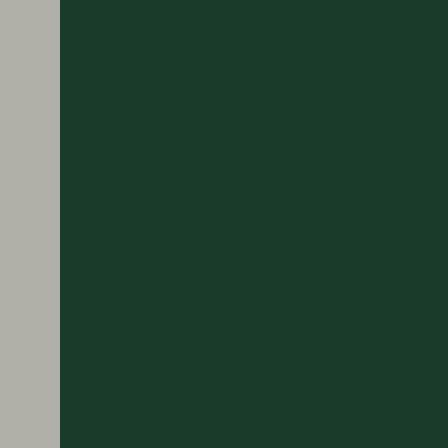experience valuable, and a large majority (41 to 4) would repeat the experience.
SHULGIN ET AL. (1986) outline a protocol for establishing the characteristics of a new psychoactive compound. As described therein, once a compound has been found to be safe, with characteristics of interest, and the active range determined, it is introduced to a special group for evaluation. This is a stable group that
[Figure (other): Dark green rectangular panel occupying the left portion of the page]